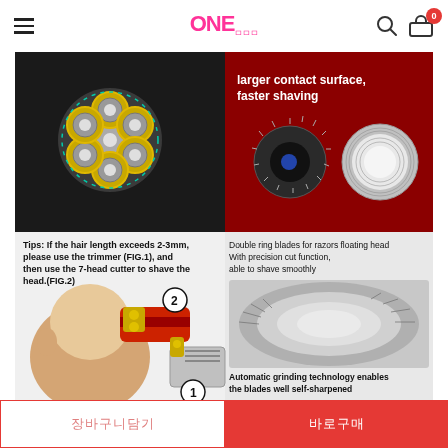ONE (logo) with hamburger menu, search icon, and cart icon (badge: 0)
[Figure (photo): Product infographic for a 7-head electric shaver. Top left: gold 7-head rotary shaver blade assembly on dark background with angle measurements. Top right: text 'larger contact surface, faster shaving' on red background with two blade component images showing double ring blades. Bottom left: text 'Tips: If the hair length exceeds 2-3mm, please use the trimmer (FIG.1), and then use the 7-head cutter to shave the head.(FIG.2)' with images showing a person's head being shaved (labeled 2) and trimmer components (labeled 1). Bottom right: text 'Double ring blades for razors floating head With precision cut function, able to shave smoothly' above close-up photo of blade ring, then text 'Automatic grinding technology enables the blades well self-sharpened'.]
장바구니담기
바로구매